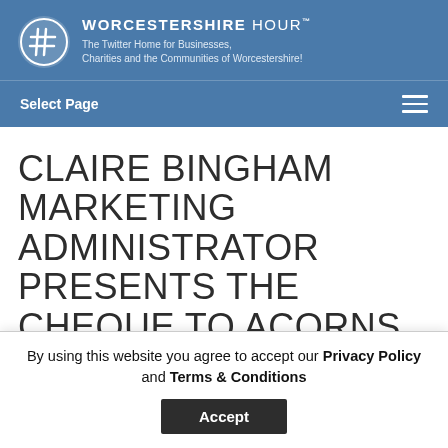WORCESTERSHIRE HOUR™ — The Twitter Home for Businesses, Charities and the Communities of Worcestershire!
Select Page
CLAIRE BINGHAM MARKETING ADMINISTRATOR PRESENTS THE CHEQUE TO ACORNS
By using this website you agree to accept our Privacy Policy and Terms & Conditions
Accept